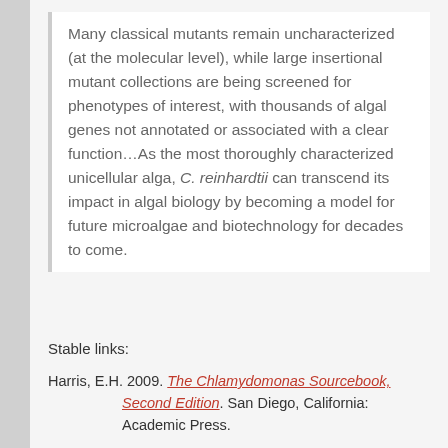Many classical mutants remain uncharacterized (at the molecular level), while large insertional mutant collections are being screened for phenotypes of interest, with thousands of algal genes not annotated or associated with a clear function…As the most thoroughly characterized unicellular alga, C. reinhardtii can transcend its impact in algal biology by becoming a model for future microalgae and biotechnology for decades to come.
Stable links:
Harris, E.H. 2009. The Chlamydomonas Sourcebook, Second Edition. San Diego, California: Academic Press.
Salomé, P.A. and Merchant, S.S. 2019. A series of fortunate events: introducing Chlamydomonas as a reference